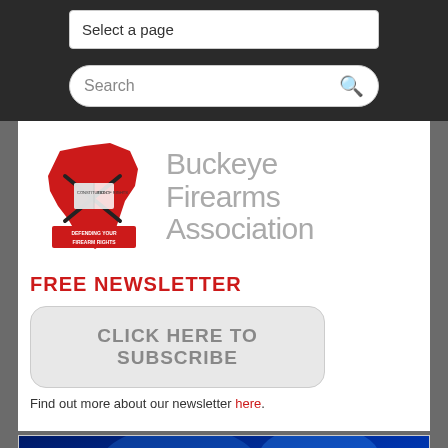Select a page
Search
[Figure (logo): Buckeye Firearms Association logo with Ohio state outline in red and rifles, text reading Buckeye Firearms Association]
FREE NEWSLETTER
CLICK HERE TO SUBSCRIBE
Find out more about our newsletter here.
[Figure (photo): Breaking News banner with blue background and red/white text reading BREAKING NEWS]